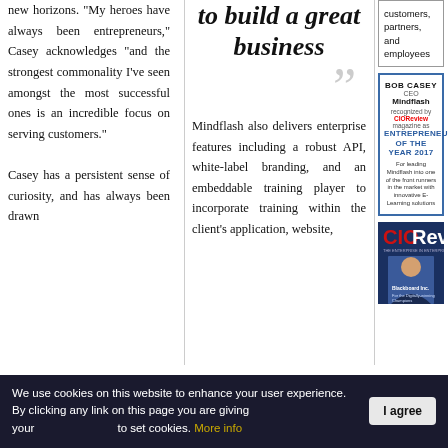new horizons. “My heroes have always been entrepreneurs,” Casey acknowledges “and the strongest commonality I’ve seen amongst the most successful ones is an incredible focus on serving customers.”
Casey has a persistent sense of curiosity, and has always been drawn
to build a great business
Mindflash also delivers enterprise features including a robust API, white-label branding, and an embeddable training player to incorporate training within the client’s application, website,
customers, partners, and employees
[Figure (infographic): Award badge: BOB CASEY CEO Mindflash, recognized by CIOReview magazine as ENTREPRENEUR OF THE YEAR 2017, For leading Mindflash into one of the front runners in the market with innovative E-Learning solutions]
[Figure (photo): CIOReview magazine cover featuring a man in a suit, with Blackboard Inc. headline and 'For the Digitally-winning Champions' text]
We use cookies on this website to enhance your user experience. By clicking any link on this page you are giving your consent to set cookies. More info